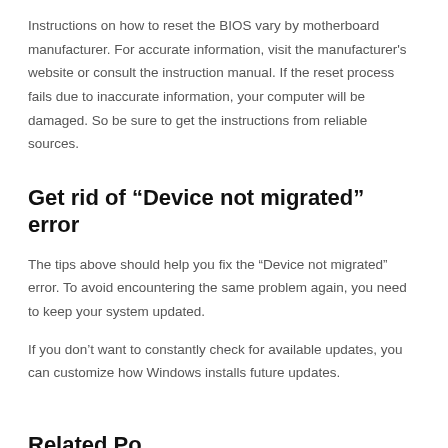Instructions on how to reset the BIOS vary by motherboard manufacturer. For accurate information, visit the manufacturer's website or consult the instruction manual. If the reset process fails due to inaccurate information, your computer will be damaged. So be sure to get the instructions from reliable sources.
Get rid of “Device not migrated” error
The tips above should help you fix the “Device not migrated” error. To avoid encountering the same problem again, you need to keep your system updated.
If you don’t want to constantly check for available updates, you can customize how Windows installs future updates.
Related Posts